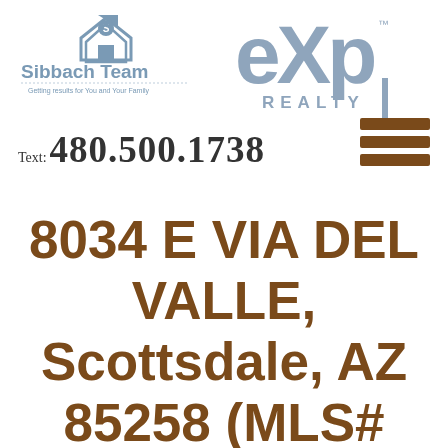[Figure (logo): Sibbach Team logo with house icon and tagline 'Getting results for You and Your Family']
[Figure (logo): eXp Realty logo in gray]
Text: 480.500.1738
[Figure (other): Hamburger menu icon with three brown horizontal bars]
8034 E VIA DEL VALLE, Scottsdale, AZ 85258 (MLS# 6301393)